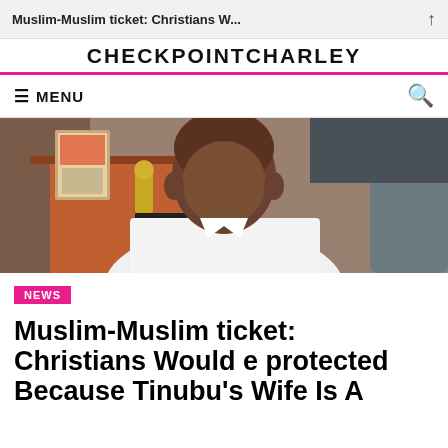Muslim-Muslim ticket: Christians W... ↑
CHECKPOINTCHARLEY
≡ MENU
[Figure (photo): A man in a white outfit seated at a desk with framed items and a wooden shelf in the background.]
NEWS
Muslim-Muslim ticket: Christians Would e protected Because Tinubu's Wife Is A